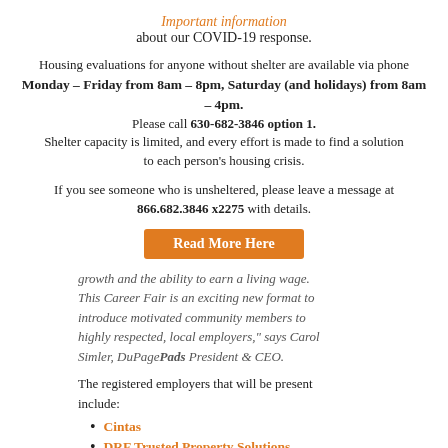Important information about our COVID-19 response.
Housing evaluations for anyone without shelter are available via phone Monday – Friday from 8am – 8pm, Saturday (and holidays) from 8am – 4pm. Please call 630-682-3846 option 1. Shelter capacity is limited, and every effort is made to find a solution to each person's housing crisis.
If you see someone who is unsheltered, please leave a message at 866.682.3846 x2275 with details.
[Figure (other): Orange 'Read More Here' button]
growth and the ability to earn a living wage. This Career Fair is an exciting new format to introduce motivated community members to highly respected, local employers," says Carol Simler, DuPagePads President & CEO.
The registered employers that will be present include:
Cintas
DRF Trusted Property Solutions
G4S Around the World